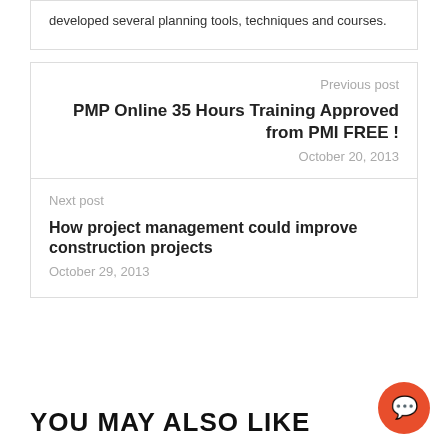developed several planning tools, techniques and courses.
Previous post
PMP Online 35 Hours Training Approved from PMI FREE !
October 20, 2013
Next post
How project management could improve construction projects
October 29, 2013
YOU MAY ALSO LIKE